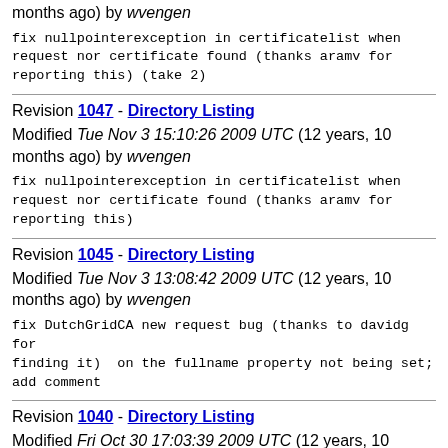months ago) by wvengen
fix nullpointerexception in certificatelist when request nor certificate found (thanks aramv for reporting this) (take 2)
Revision 1047 - Directory Listing Modified Tue Nov 3 15:10:26 2009 UTC (12 years, 10 months ago) by wvengen
fix nullpointerexception in certificatelist when request nor certificate found (thanks aramv for reporting this)
Revision 1045 - Directory Listing Modified Tue Nov 3 13:08:42 2009 UTC (12 years, 10 months ago) by wvengen
fix DutchGridCA new request bug (thanks to davidg for finding it)  on the fullname property not being set; add comment
Revision 1040 - Directory Listing Modified Fri Oct 30 17:03:39 2009 UTC (12 years, 10 months ago) by wvengen
finally fix refresh testing issue